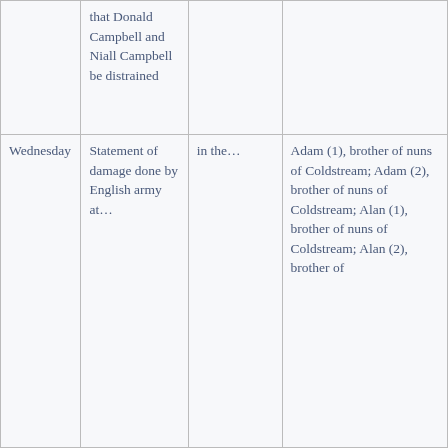|  | that Donald Campbell and Niall Campbell be distrained |  |  |
| Wednesday | Statement of damage done by English army at… | in the… | Adam (1), brother of nuns of Coldstream; Adam (2), brother of nuns of Coldstream; Alan (1), brother of nuns of Coldstream; Alan (2), brother of… |